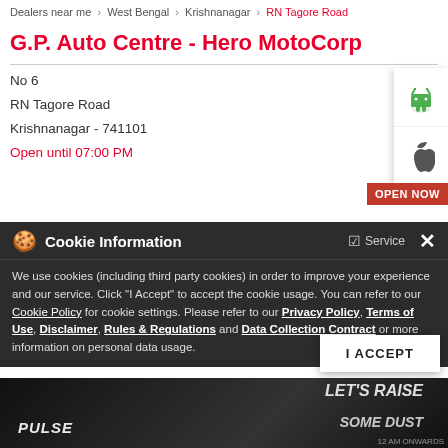Dealers near me > West Bengal > Krishnanagar > RN Tagore Road
G.P. Auto Centre - Hero MotoCorp
No 6
RN Tagore Road
Krishnanagar - 741101
Open until 07:00 PM
OPEN NOW
Cookie Information
We use cookies (including third party cookies) in order to improve your experience and our service. Click "I Accept" to accept the cookie usage. You can refer to our Cookie Policy for cookie settings. Please refer to our Privacy Policy, Terms of Use, Disclaimer, Rules & Regulations and Data Collection Contract or more information on personal data usage.
[Figure (photo): Dark background image showing motorcycles with text 'LET'S RAISE SOME DUST' and 'PULSE' branding]
I ACCEPT